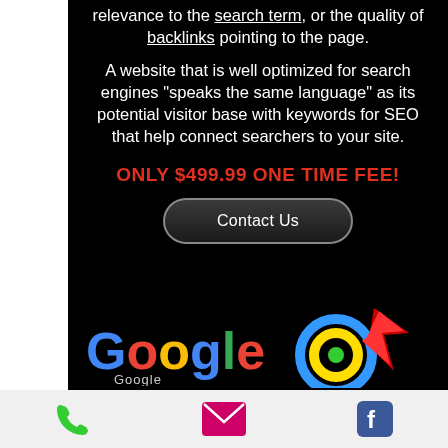relevance to the search term, or the quality of backlinks pointing to the page.
A website that is well optimized for search engines "speaks the same language" as its potential visitor base with keywords for SEO that help connect searchers to your site.
ONLY $499.99 ONE TIME FEE!
Contact Us
[Figure (logo): Google logo with colorful letters and decorative circular arrow graphic]
[Figure (infographic): Bottom navigation bar with phone, email, and Facebook icons]